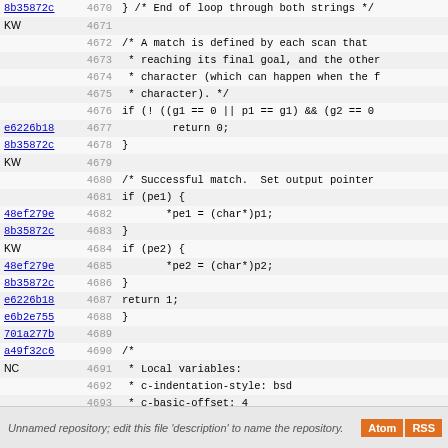[Figure (screenshot): Code viewer showing lines 4670-4698 of a C source file with git blame annotations (commit hashes and authors in left column, line numbers, code content). Shows end of a string matching function and a local variables comment block.]
Unnamed repository; edit this file 'description' to name the repository.